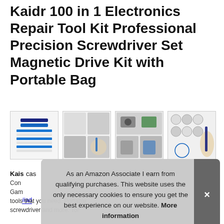Kaidr 100 in 1 Electronics Repair Tool Kit Professional Precision Screwdriver Set Magnetic Drive Kit with Portable Bag
#ad
[Figure (photo): Four product images of the screwdriver kit showing the bits, usage, compatible devices, and accessories]
Kaidr cases, Computers, Games tools that you need. Portable screwdriver and more. Tor
As an Amazon Associate I earn from qualifying purchases. This website uses the only necessary cookies to ensure you get the best experience on our website. More information